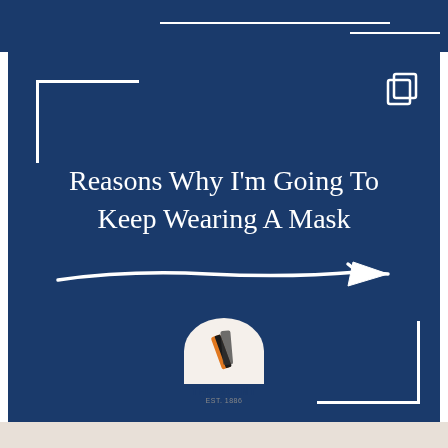[Figure (infographic): Dark navy blue social media card for 'The Slant' publication with title 'Reasons Why I'm Going To Keep Wearing A Mask', decorative white corner brackets, white arrow pointing right, and The Slant logo at the bottom]
Reasons Why I'm Going To Keep Wearing A Mask